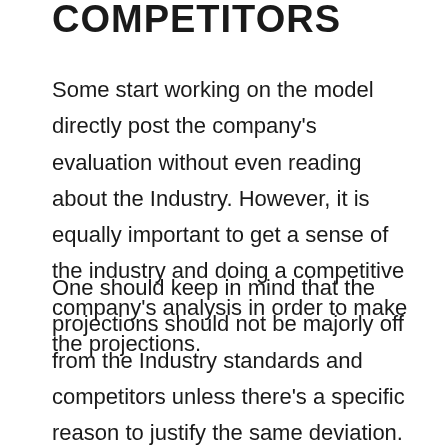COMPETITORS
Some start working on the model directly post the company’s evaluation without even reading about the Industry. However, it is equally important to get a sense of the industry and doing a competitive company’s analysis in order to make the projections.
One should keep in mind that the projections should not be majorly off from the Industry standards and competitors unless there’s a specific reason to justify the same deviation.